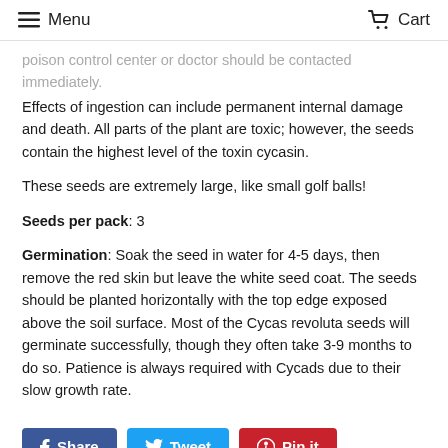Menu   Cart
poison control center or doctor should be contacted immediately. Effects of ingestion can include permanent internal damage and death. All parts of the plant are toxic; however, the seeds contain the highest level of the toxin cycasin.
These seeds are extremely large, like small golf balls!
Seeds per pack: 3
Germination: Soak the seed in water for 4-5 days, then remove the red skin but leave the white seed coat. The seeds should be planted horizontally with the top edge exposed above the soil surface. Most of the Cycas revoluta seeds will germinate successfully, though they often take 3-9 months to do so. Patience is always required with Cycads due to their slow growth rate.
Share   Tweet   Pin it